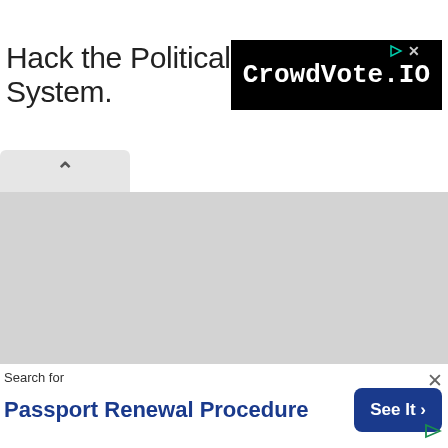[Figure (screenshot): Advertisement banner with text 'Hack the Political System.' on white background and CrowdVote.IO logo in black box on right with play/close icons]
[Figure (screenshot): Collapsed UI tab with upward chevron arrow on gray background]
[Figure (screenshot): Large gray empty content area]
[Figure (screenshot): Bottom search advertisement: 'Search for Passport Renewal Procedure' with 'See It >' blue button and close X icon]